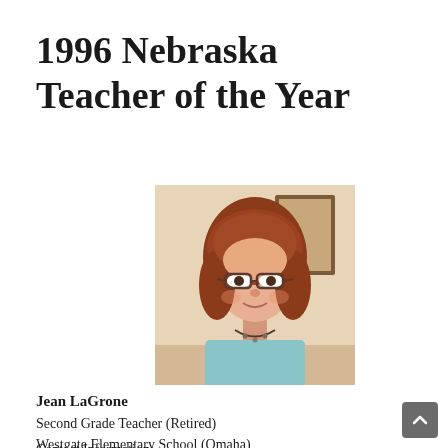1996 Nebraska Teacher of the Year
[Figure (photo): Portrait photo of Jean LaGrone, a woman with reddish-brown shoulder-length hair and glasses, wearing a light blue top and beaded necklace, smiling at the camera indoors.]
Jean LaGrone
Second Grade Teacher (Retired)
Westgate Elementary School (Omaha)
Contact Information: